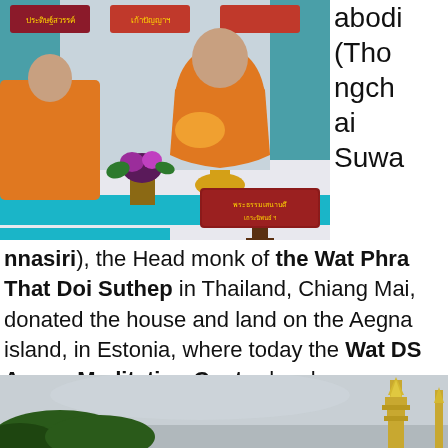[Figure (photo): A Buddhist monk in orange robes seated at a table with flowers and a Thai nameplate sign, at what appears to be a formal ceremony with decorations in the background.]
abodi (Thongchai Suwannasiri), the Head monk of the Wat Phra That Doi Suthep in Thailand, Chiang Mai, donated the house and land on the Aegna island, in Estonia, where today the Wat DS Aegna Meditation Center has been established.
[Figure (photo): A golden temple spire (chedi or stupa) visible against a grey sky with green trees in the foreground.]